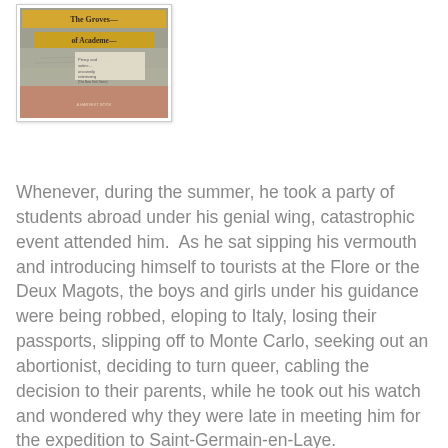[Figure (illustration): Book cover of 'The Groves of Academe' with yellow title banner and textured background in grey and terracotta tones]
Whenever, during the summer, he took a party of students abroad under his genial wing, catastrophic event attended him.  As he sat sipping his vermouth and introducing himself to tourists at the Flore or the Deux Magots, the boys and girls under his guidance were being robbed, eloping to Italy, losing their passports, slipping off to Monte Carlo, seeking out an abortionist, deciding to turn queer, cabling the decision to their parents, while he took out his watch and wondered why they were late in meeting him for the expedition to Saint-Germain-en-Laye.